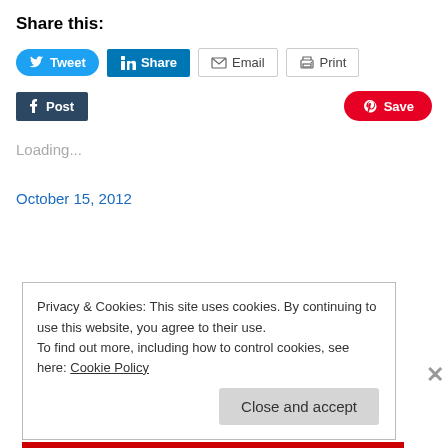Share this:
[Figure (screenshot): Social share buttons row 1: Tweet (Twitter, blue rounded), Share (LinkedIn, teal), Email (outlined), Print (outlined)]
[Figure (screenshot): Social share buttons row 2: Post (Tumblr, dark navy), Save (Pinterest, red rounded)]
Loading...
October 15, 2012
Privacy & Cookies: This site uses cookies. By continuing to use this website, you agree to their use.
To find out more, including how to control cookies, see here: Cookie Policy